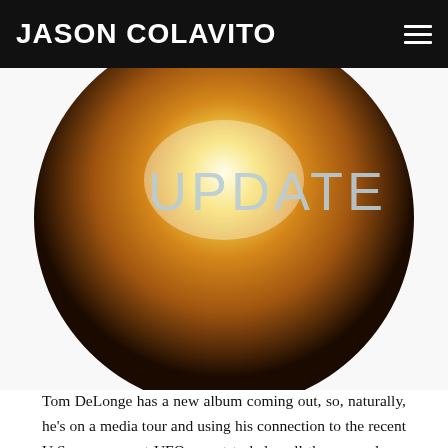JASON COLAVITO
[Figure (illustration): Circular golden/amber glowing orb image with text 'UPDATE' overlaid in light blue/grey letters, partially cropped at top showing 'POLTERGEIST' text behind the header bar. The orb has warm yellow-orange gradient center fading to darker edges.]
Tom DeLonge has a new album coming out, so, naturally, he's on a media tour and using his connection to the recent U.S. government UFO report to help sell the new release from Angels & Airwaves, his much less popular post-Blink-182 group. And since it's Tom DeLonge, he's also saying a bunch of weird shit that ranges from high fantasy to delusional. Naturally, the mainstream media continue to fawn over DeLonge's looniest rantings, giving him prime real estate to spread